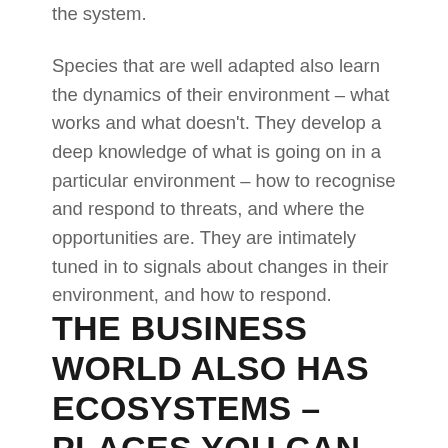the system.
Species that are well adapted also learn the dynamics of their environment – what works and what doesn't. They develop a deep knowledge of what is going on in a particular environment – how to recognise and respond to threats, and where the opportunities are. They are intimately tuned in to signals about changes in their environment, and how to respond.
THE BUSINESS WORLD ALSO HAS ECOSYSTEMS – PLACES YOU CAN CHOOSE TO OPERATE IN